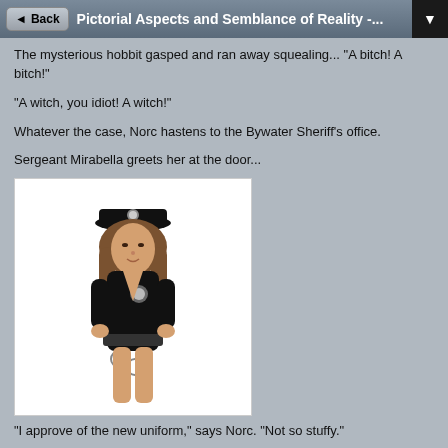Pictorial Aspects and Semblance of Reality -...
The mysterious hobbit gasped and ran away squealing... "A bitch! A bitch!"
"A witch, you idiot! A witch!"
Whatever the case, Norc hastens to the Bywater Sheriff's office.
Sergeant Mirabella greets her at the door...
[Figure (photo): Woman in black police costume outfit with cap, badge, and handcuffs accessory]
"I approve of the new uniform," says Norc. "Not so stuffy."